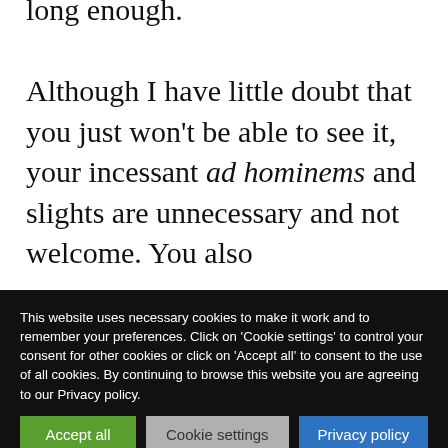long enough. Although I have little doubt that you just won't be able to see it, your incessant ad hominems and slights are unnecessary and not welcome. You also
This website uses necessary cookies to make it work and to remember your preferences. Click on 'Cookie settings' to control your consent for other cookies or click on 'Accept all' to consent to the use of all cookies. By continuing to browse this website you are agreeing to our Privacy policy.